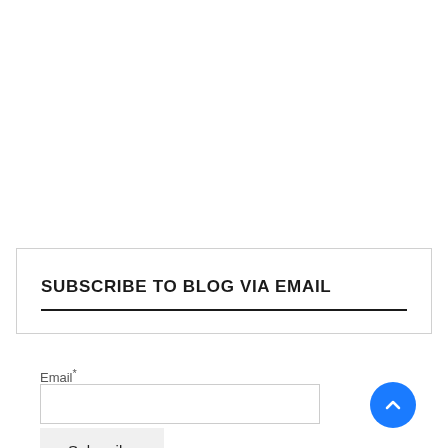SUBSCRIBE TO BLOG VIA EMAIL
Email*
[Figure (other): Blue circular scroll-to-top button with upward chevron arrow]